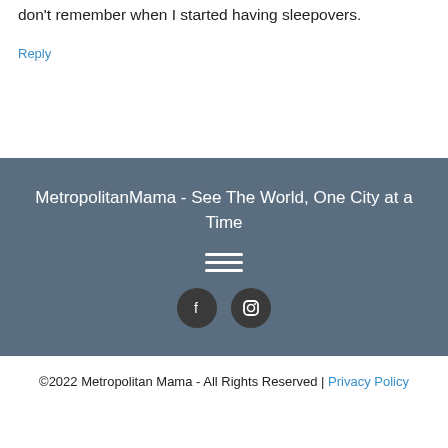don't remember when I started having sleepovers.
Reply
MetropolitanMama - See The World, One City at a Time
[Figure (other): Hamburger menu icon with three horizontal white lines]
[Figure (other): Facebook and Instagram social media icons as white symbols on dark circular backgrounds]
©2022 Metropolitan Mama - All Rights Reserved | Privacy Policy